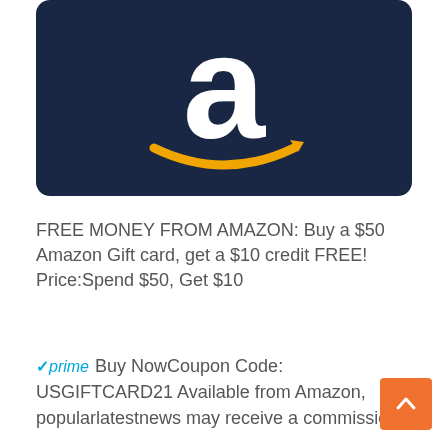[Figure (photo): Amazon gift card with dark navy blue background, large white lowercase letter 'a' with the Amazon logo, and the orange Amazon smile arrow below it]
FREE MONEY FROM AMAZON: Buy a $50 Amazon Gift card, get a $10 credit FREE! Price:Spend $50, Get $10
✓prime  Buy NowCoupon Code: USGIFTCARD21 Available from Amazon, popularlatestnews may receive a commission